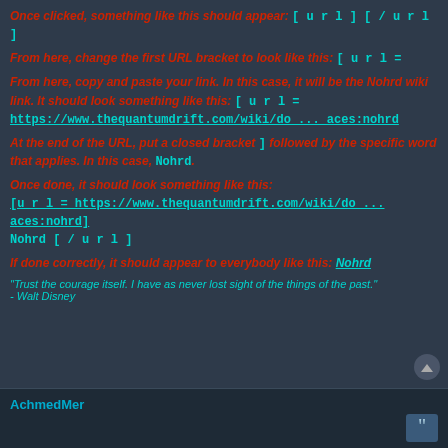Once clicked, something like this should appear: [url][/url]
From here, change the first URL bracket to look like this: [url =
From here, copy and paste your link. In this case, it will be the Nohrd wiki link. It should look something like this: [url = https://www.thequantumdrift.com/wiki/do ... aces:nohrd
At the end of the URL, put a closed bracket ] followed by the specific word that applies. In this case, Nohrd.
Once done, it should look something like this: [url = https://www.thequantumdrift.com/wiki/do ... aces:nohrd] Nohrd [/url]
If done correctly, it should appear to everybody like this: Nohrd
"Trust the courage itself. I have as never lost sight of the things of the past." - Walt Disney
AchmedMer